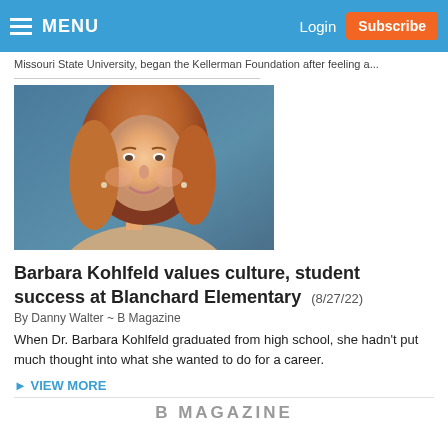MENU  Login  Subscribe
Missouri State University, began the Kellerman Foundation after feeling a...
[Figure (photo): Headshot of Barbara Kohlfeld, a woman with long auburn hair, smiling, against a blue-grey background.]
Barbara Kohlfeld values culture, student success at Blanchard Elementary (8/27/22)
By Danny Walter ~ B Magazine
When Dr. Barbara Kohlfeld graduated from high school, she hadn’t put much thought into what she wanted to do for a career.
► VIEW MORE
B MAGAZINE